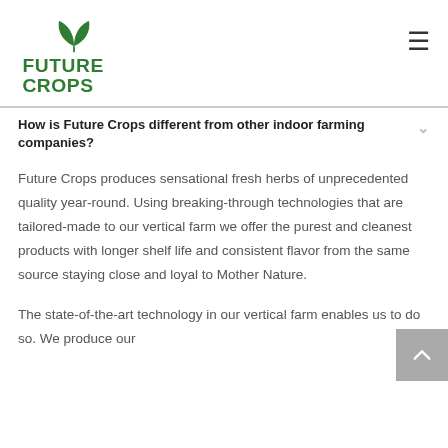[Figure (logo): Future Crops logo — green plant/leaf icon above bold green text 'FUTURE CROPS']
How is Future Crops different from other indoor farming companies?
Future Crops produces sensational fresh herbs of unprecedented quality year-round. Using breaking-through technologies that are tailored-made to our vertical farm we offer the purest and cleanest products with longer shelf life and consistent flavor from the same source staying close and loyal to Mother Nature.
The state-of-the-art technology in our vertical farm enables us to do so. We produce our